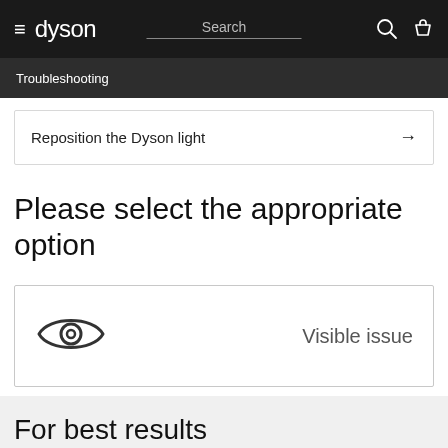dyson | Search
Troubleshooting
Reposition the Dyson light →
Please select the appropriate option
Visible issue
For best results (partial)